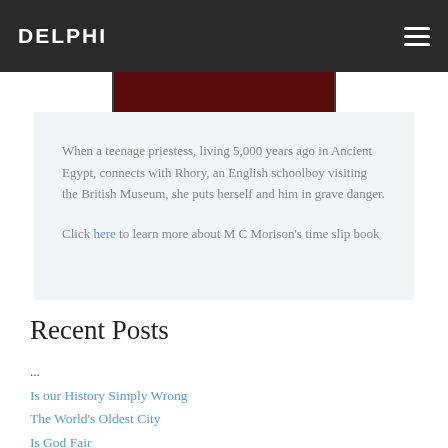DELPHI
[Figure (photo): Book cover image for M C Morison, dark red background with author name text partially visible at top]
When a teenage priestess, living 5,000 years ago in Ancient Egypt, connects with Rhory, an English schoolboy visiting the British Museum, she puts herself and him in grave danger.
Click here to learn more about M C Morison's time slip book
Recent Posts
...
Is our History Simply Wrong
The World's Oldest City
Is God Fair
Queen Nefertiti and Treasure in Turkey